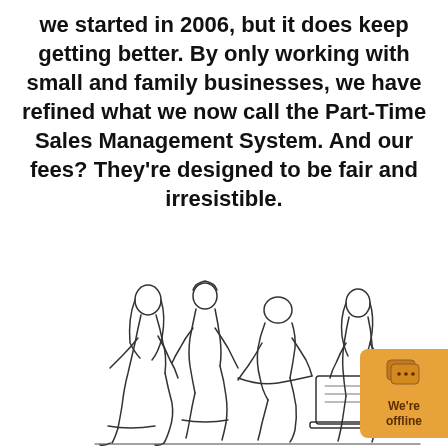we started in 2006, but it does keep getting better. By only working with small and family businesses, we have refined what we now call the Part-Time Sales Management System. And our fees? They're designed to be fair and irresistible.
[Figure (illustration): Line drawing illustration of a group of people sitting and having a business meeting/discussion, drawn in a continuous single-line art style.]